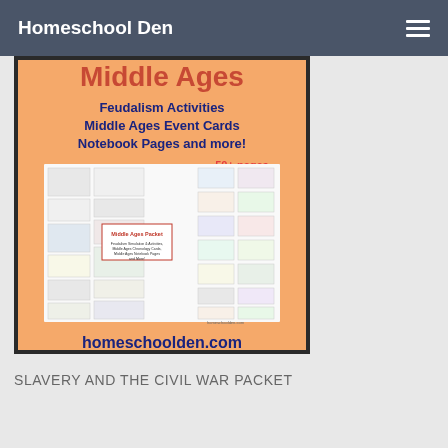Homeschool Den
[Figure (illustration): Middle Ages educational packet advertisement with orange background showing 'Feudalism Activities, Middle Ages Event Cards, Notebook Pages and more!' with 50+ pages label and homeschoolden.com URL]
SLAVERY AND THE CIVIL WAR PACKET